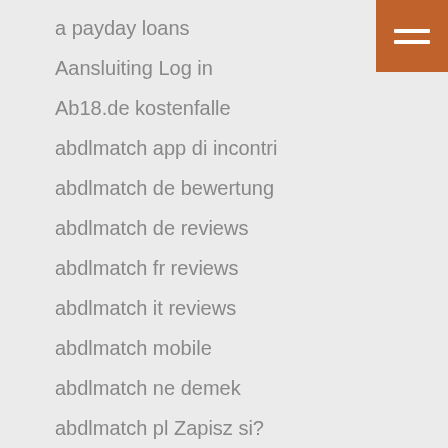a payday loans
Aansluiting Log in
Ab18.de kostenfalle
abdlmatch app di incontri
abdlmatch de bewertung
abdlmatch de reviews
abdlmatch fr reviews
abdlmatch it reviews
abdlmatch mobile
abdlmatch ne demek
abdlmatch pl Zapisz si?
abdlmatch Premium-APK
ABDLmatch review